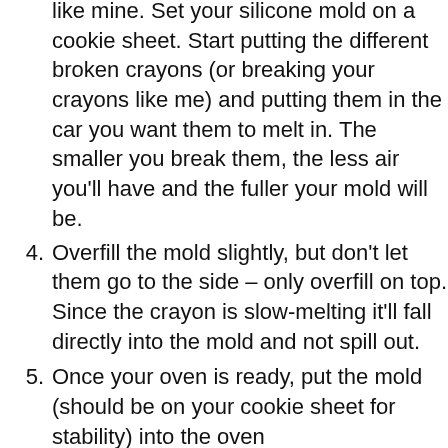like mine. Set your silicone mold on a cookie sheet. Start putting the different broken crayons (or breaking your crayons like me) and putting them in the car you want them to melt in. The smaller you break them, the less air you'll have and the fuller your mold will be.
4. Overfill the mold slightly, but don't let them go to the side – only overfill on top. Since the crayon is slow-melting it'll fall directly into the mold and not spill out.
5. Once your oven is ready, put the mold (should be on your cookie sheet for stability) into the oven